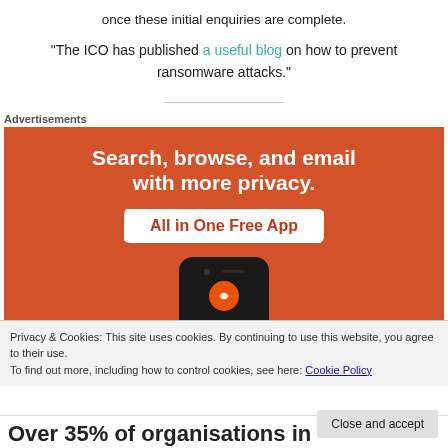once these initial enquiries are complete.
"The ICO has published a useful blog on how to prevent ransomware attacks."
[Figure (infographic): Advertisement banner with orange background promoting a privacy app. Text reads 'Search, browse, and email with more privacy. All in One Free App' with a smartphone image below.]
Privacy & Cookies: This site uses cookies. By continuing to use this website, you agree to their use.
To find out more, including how to control cookies, see here: Cookie Policy
Close and accept
Over 35% of organisations in